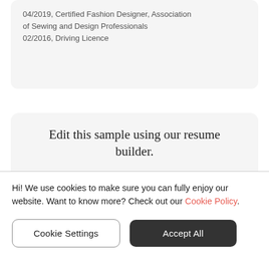04/2019, Certified Fashion Designer, Association of Sewing and Design Professionals
02/2016, Driving Licence
Edit this sample using our resume builder.
Edit Sample
Hi! We use cookies to make sure you can fully enjoy our website. Want to know more? Check out our Cookie Policy.
Cookie Settings
Accept All